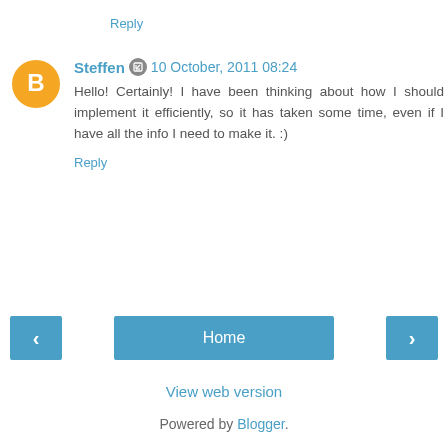Reply
Steffen  10 October, 2011 08:24
Hello! Certainly! I have been thinking about how I should implement it efficiently, so it has taken some time, even if I have all the info I need to make it. :)
Reply
Home
View web version
Powered by Blogger.